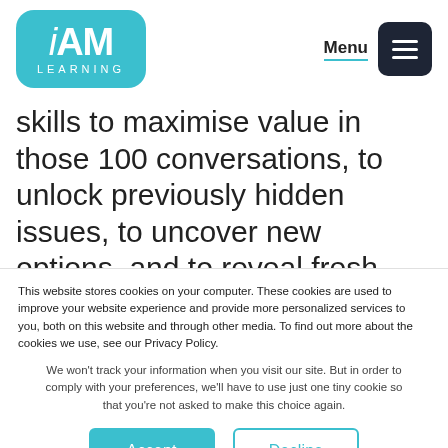[Figure (logo): iAM Learning logo — teal rounded rectangle with 'iAM' in large white text and 'LEARNING' in small white spaced caps below]
Menu
skills to maximise value in those 100 conversations, to unlock previously hidden issues, to uncover new options, and to reveal fresh insights'
This website stores cookies on your computer. These cookies are used to improve your website experience and provide more personalized services to you, both on this website and through other media. To find out more about the cookies we use, see our Privacy Policy.
We won't track your information when you visit our site. But in order to comply with your preferences, we'll have to use just one tiny cookie so that you're not asked to make this choice again.
Accept
Decline